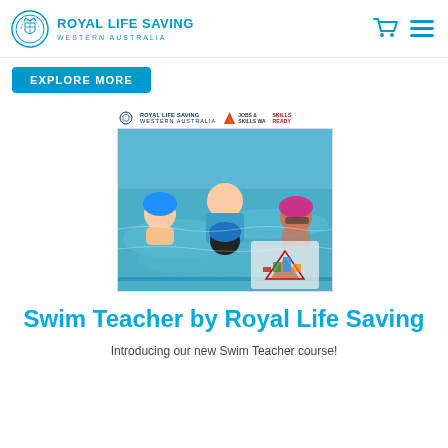ROYAL LIFE SAVING WESTERN AUSTRALIA
EXPLORE MORE
[Figure (photo): Swim teacher in a pool with children wearing blue swim caps, with Royal Life Saving, Jobs & Skills WA, and Skills Ready logos above the photo]
Swim Teacher by Royal Life Saving
Introducing our new Swim Teacher course!